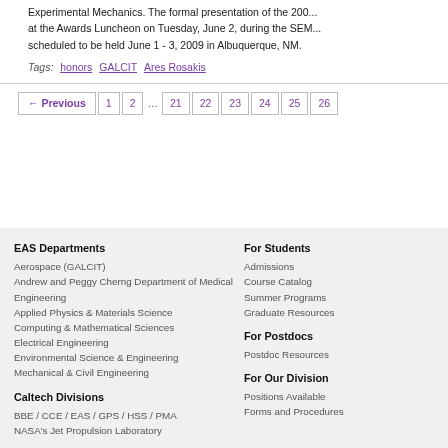Experimental Mechanics. The formal presentation of the 200... at the Awards Luncheon on Tuesday, June 2, during the SEM... scheduled to be held June 1 - 3, 2009 in Albuquerque, NM.
Tags: honors GALCIT Ares Rosakis
← Previous 1 2 … 21 22 23 24 25 26
EAS Departments
Aerospace (GALCIT)
Andrew and Peggy Cherng Department of Medical Engineering
Applied Physics & Materials Science
Computing & Mathematical Sciences
Electrical Engineering
Environmental Science & Engineering
Mechanical & Civil Engineering
Caltech Divisions
BBE / CCE / EAS / GPS / HSS / PMA
NASA's Jet Propulsion Laboratory
For Students
Admissions
Course Catalog
Summer Programs
Graduate Resources
For Postdocs
Postdoc Resources
For Our Division
Positions Available
Forms and Procedures